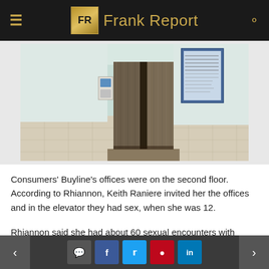Frank Report
[Figure (photo): Photograph of a building elevator with open doors, tiled floor, and a notice board on the wall to the right. The setting appears to be an office building interior.]
Consumers' Buyline's offices were on the second floor. According to Rhiannon, Keith Raniere invited her the offices and in the elevator they had sex, when she was 12.
Rhiannon said she had about 60 sexual encounters with Raniere.  After some time, she started skipping school and wanted to leave him. She ran away from home, she said, because he lived
< [comment] [f] [twitter] [pinterest] [in] >